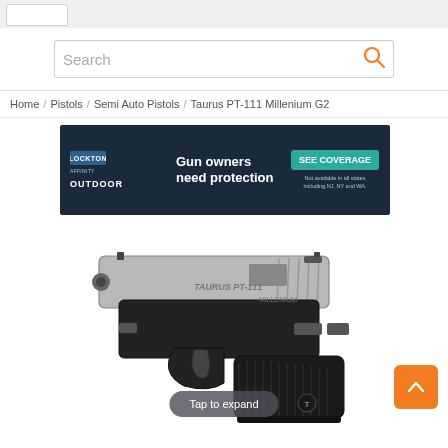Search
Home / Pistols / Semi Auto Pistols / Taurus PT-111 Millenium G2
[Figure (photo): Advertisement banner for Lockton Affinity Outdoor: dark navy background with logo and 'Gun owners need protection' headline, teal 'SEE COVERAGE' button, disclaimer text 'Not available in all states including NJ, NY and WA.']
[Figure (photo): Product photo of a Taurus PT-111 Millennium G2 semi-automatic pistol with stainless steel slide and black polymer frame, shown in profile view against white background]
Tap to expand